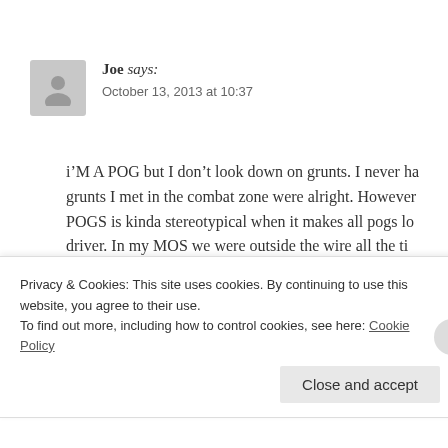Joe says: October 13, 2013 at 10:37
i’M A POG but I don’t look down on grunts. I never ha grunts I met in the combat zone were alright. However POGS is kinda stereotypical when it makes all pogs lo driver. In my MOS we were outside the wire all the ti think of including grunt equipment. Sure we don’t hav don’t exactly sit in a a/c tent all day doing paper work.
Privacy & Cookies: This site uses cookies. By continuing to use this website, you agree to their use.
To find out more, including how to control cookies, see here: Cookie Policy
Close and accept